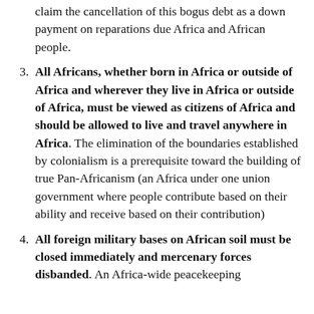claim the cancellation of this bogus debt as a down payment on reparations due Africa and African people.
3. All Africans, whether born in Africa or outside of Africa and wherever they live in Africa or outside of Africa, must be viewed as citizens of Africa and should be allowed to live and travel anywhere in Africa. The elimination of the boundaries established by colonialism is a prerequisite toward the building of true Pan-Africanism (an Africa under one union government where people contribute based on their ability and receive based on their contribution)
4. All foreign military bases on African soil must be closed immediately and mercenary forces disbanded. An Africa-wide peacekeeping